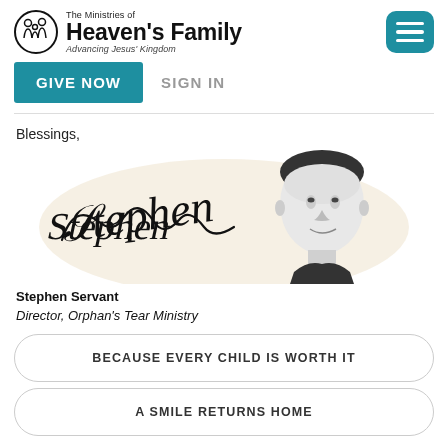The Ministries of Heaven's Family — Advancing Jesus' Kingdom
GIVE NOW   SIGN IN
Blessings,
[Figure (photo): Signature of Stephen and a black-and-white portrait photo of Stephen Servant, a young man in a dark shirt, smiling.]
Stephen Servant
Director, Orphan's Tear Ministry
BECAUSE EVERY CHILD IS WORTH IT
A SMILE RETURNS HOME